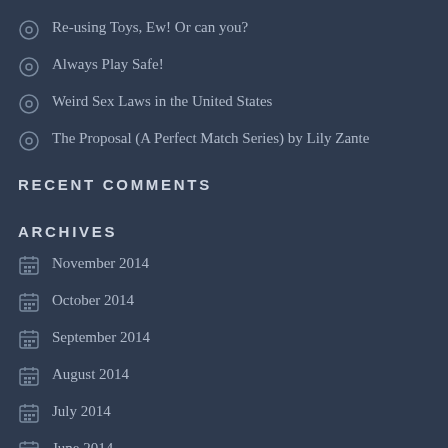Re-using Toys, Ew! Or can you?
Always Play Safe!
Weird Sex Laws in the United States
The Proposal (A Perfect Match Series) by Lily Zante
RECENT COMMENTS
ARCHIVES
November 2014
October 2014
September 2014
August 2014
July 2014
June 2014